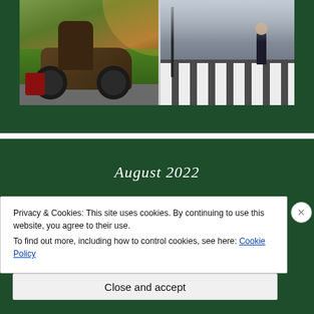[Figure (photo): Two photos side by side: left shows a person on a motorcycle on a road with green grass, right shows a pedestrian crossing (zebra crossing) with a person walking.]
August 2022
M  T  W  T  F  S  S
Privacy & Cookies: This site uses cookies. By continuing to use this website, you agree to their use.
To find out more, including how to control cookies, see here: Cookie Policy
Close and accept